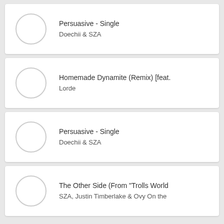Persuasive - Single
Doechii & SZA
Homemade Dynamite (Remix) [feat.
Lorde
Persuasive - Single
Doechii & SZA
The Other Side (From "Trolls World
SZA, Justin Timberlake & Ovy On the